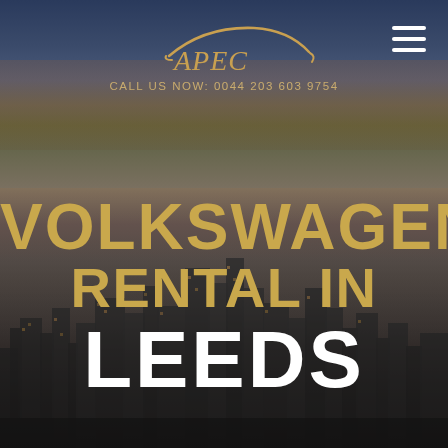[Figure (photo): Blurred nighttime aerial city skyline photo used as background, with dark blue, amber, and grey tones suggesting dusk or night over a metropolitan area (Leeds).]
[Figure (logo): APEC car rental logo in gold/amber — stylized script lettering with a car silhouette arc above the text]
CALL US NOW: 0044 203 603 9754
VOLKSWAGEN RENTAL IN LEEDS